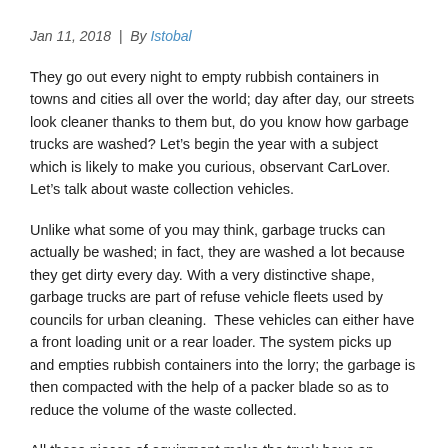Jan 11, 2018 | By Istobal
They go out every night to empty rubbish containers in towns and cities all over the world; day after day, our streets look cleaner thanks to them but, do you know how garbage trucks are washed? Let’s begin the year with a subject which is likely to make you curious, observant CarLover. Let’s talk about waste collection vehicles.
Unlike what some of you may think, garbage trucks can actually be washed; in fact, they are washed a lot because they get dirty every day. With a very distinctive shape, garbage trucks are part of refuse vehicle fleets used by councils for urban cleaning.  These vehicles can either have a front loading unit or a rear loader. The system picks up and empties rubbish containers into the lorry; the garbage is then compacted with the help of a packer blade so as to reduce the volume of the waste collected.
All these pieces of equipment make the truck have an awkward shape